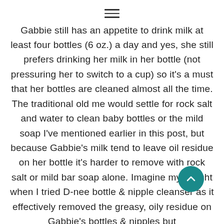≡
Gabbie still has an appetite to drink milk at least four bottles (6 oz.) a day and yes, she still prefers drinking her milk in her bottle (not pressuring her to switch to a cup) so it's a must that her bottles are cleaned almost all the time. The traditional old me would settle for rock salt and water to clean baby bottles or the mild soap I've mentioned earlier in this post, but because Gabbie's milk tend to leave oil residue on her bottle it's harder to remove with rock salt or mild bar soap alone. Imagine my delight when I tried D-nee bottle & nipple cleanser as it effectively removed the greasy, oily residue on Gabbie's bottles & nipples but